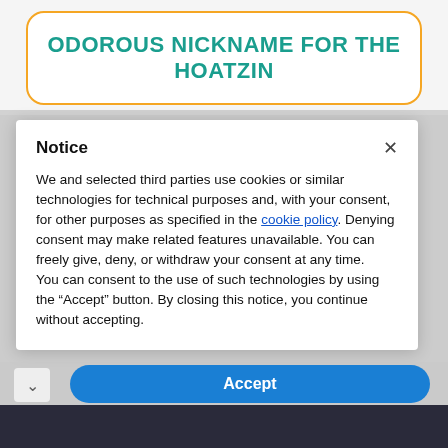ODOROUS NICKNAME FOR THE HOATZIN
Notice
We and selected third parties use cookies or similar technologies for technical purposes and, with your consent, for other purposes as specified in the cookie policy. Denying consent may make related features unavailable. You can freely give, deny, or withdraw your consent at any time.
You can consent to the use of such technologies by using the “Accept” button. By closing this notice, you continue without accepting.
Accept
[Figure (photo): Advertisement for Helbiz scooter app showing handlebars of an electric scooter with text 'Download Helbiz and ride']